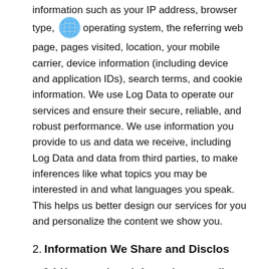information such as your IP address, browser type, operating system, the referring web page, pages visited, location, your mobile carrier, device information (including device and application IDs), search terms, and cookie information. We use Log Data to operate our services and ensure their secure, reliable, and robust performance. We use information you provide to us and data we receive, including Log Data and data from third parties, to make inferences like what topics you may be interested in and what languages you speak. This helps us better design our services for you and personalize the content we show you.
2. Information We Share and Disclos
2.1 How we share information we collect
You should be aware that any information you provide on